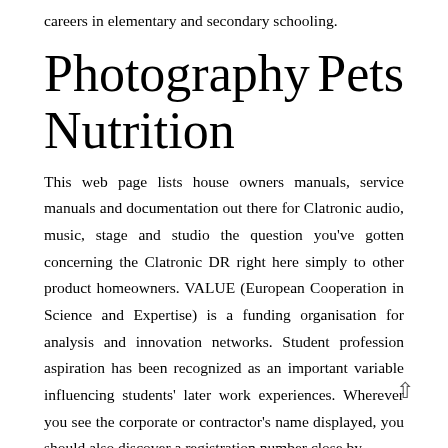careers in elementary and secondary schooling.
Photography   Pets
Nutrition
This web page lists house owners manuals, service manuals and documentation out there for Clatronic audio, music, stage and studio the question you’ve gotten concerning the Clatronic DR right here simply to other product homeowners. VALUE (European Cooperation in Science and Expertise) is a funding organisation for analysis and innovation networks. Student profession aspiration has been recognized as an important variable influencing students’ later work experiences. Wherever you see the corporate or contractor’s name displayed, you should also discover a registration number close by.